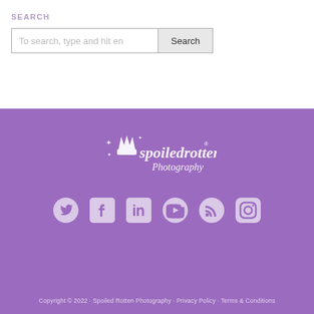SEARCH
To search, type and hit en
[Figure (logo): Spoiled Rotten Photography logo in white on purple background]
[Figure (infographic): Social media icons: Twitter, Facebook, LinkedIn, YouTube, RSS, Instagram]
Copyright © 2022 · Spoiled Rotten Photography · Privacy Policy · Terms & Conditions